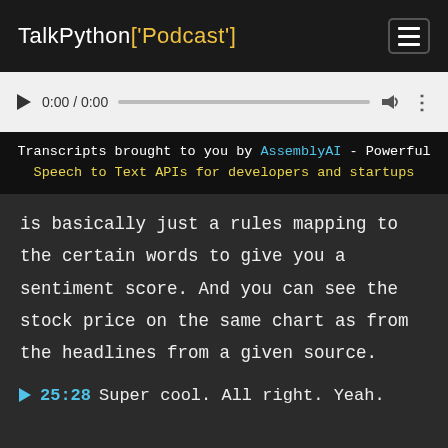TalkPython['Podcast']
[Figure (screenshot): Audio player with play button, time display 0:00 / 0:00, progress bar, volume icon, and more options icon on a light gray background]
Transcripts brought to you by AssemblyAI - Powerful Speech to Text APIs for developers and startups
is basically just a rules mapping to the certain words to give you a sentiment score. And you can see the stock price on the same chart as from the headlines from a given source.
▶ 25:28 Super cool. All right. Yeah.